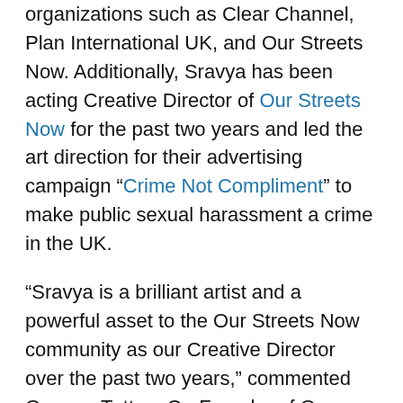organizations such as Clear Channel, Plan International UK, and Our Streets Now. Additionally, Sravya has been acting Creative Director of Our Streets Now for the past two years and led the art direction for their advertising campaign “Crime Not Compliment” to make public sexual harassment a crime in the UK.
“Sravya is a brilliant artist and a powerful asset to the Our Streets Now community as our Creative Director over the past two years,” commented Gemma Tutton, Co-Founder of Our Streets Now. “Hello Colour has been a great partner to collaborate with on our public sexual harassment campaigns and produces amazing, emotion provoking artwork. We look forward to Hello Colour’s continued support and are confident the expansion will create more opportunities for important social impact campaigns in the UK.”